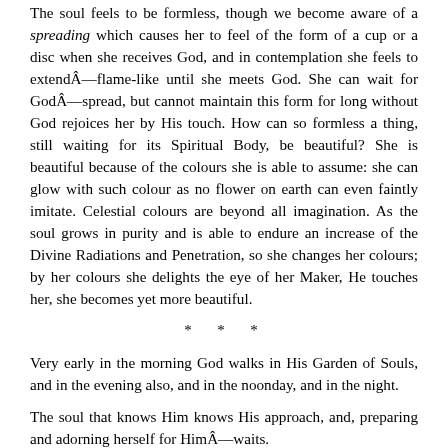The soul feels to be formless, though we become aware of a spreading which causes her to feel of the form of a cup or a disc when she receives God, and in contemplation she feels to extendÂ—flame-like until she meets God. She can wait for GodÂ—spread, but cannot maintain this form for long without God rejoices her by His touch. How can so formless a thing, still waiting for its Spiritual Body, be beautiful? She is beautiful because of the colours she is able to assume: she can glow with such colour as no flower on earth can even faintly imitate. Celestial colours are beyond all imagination. As the soul grows in purity and is able to endure an increase of the Divine Radiations and Penetration, so she changes her colours; by her colours she delights the eye of her Maker, He touches her, she becomes yet more beautiful.
* * *
Very early in the morning God walks in His Garden of Souls, and in the evening also, and in the noonday, and in the night.
The soul that knows Him knows His approach, and, preparing and adorning herself for HimÂ—waits.